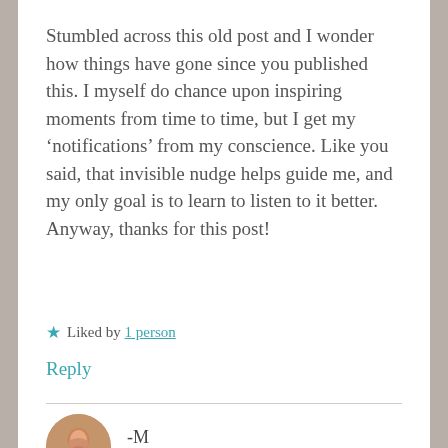Stumbled across this old post and I wonder how things have gone since you published this. I myself do chance upon inspiring moments from time to time, but I get my ‘notifications’ from my conscience. Like you said, that invisible nudge helps guide me, and my only goal is to learn to listen to it better. Anyway, thanks for this post!
★ Liked by 1 person
Reply
-M
DECEMBER 24, 2021 AT 9:22 PM